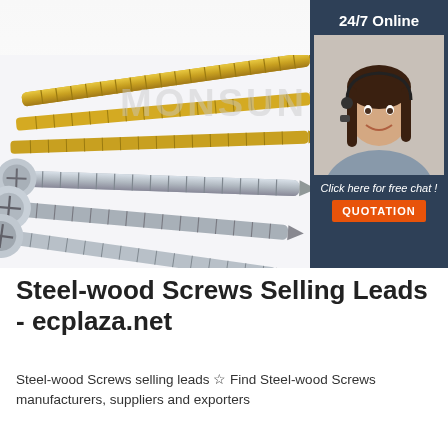[Figure (photo): Product photo of multiple steel-wood screws both gold/brass colored and silver/zinc plated, arranged fanned out showing their threaded shafts and flat heads, with a 'MONSUN' watermark overlaid, and a 24/7 Online chat widget on the right with a female customer service agent wearing a headset, a 'Click here for free chat!' message, and an orange QUOTATION button.]
Steel-wood Screws Selling Leads - ecplaza.net
Steel-wood Screws selling leads ☆ Find Steel-wood Screws manufacturers, suppliers and exporters